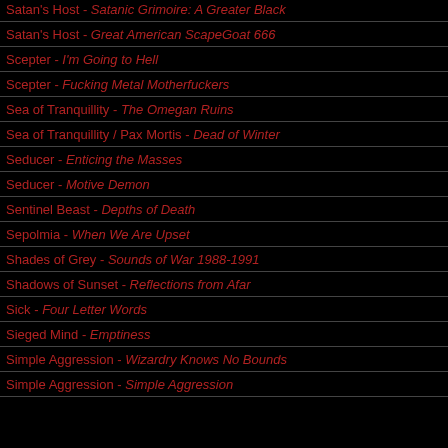Satan's Host - Satanic Grimoire: A Greater Black
Satan's Host - Great American ScapeGoat 666
Scepter - I'm Going to Hell
Scepter - Fucking Metal Motherfuckers
Sea of Tranquillity - The Omegan Ruins
Sea of Tranquillity / Pax Mortis - Dead of Winter
Seducer - Enticing the Masses
Seducer - Motive Demon
Sentinel Beast - Depths of Death
Sepolmia - When We Are Upset
Shades of Grey - Sounds of War 1988-1991
Shadows of Sunset - Reflections from Afar
Sick - Four Letter Words
Sieged Mind - Emptiness
Simple Aggression - Wizardry Knows No Bounds
Simple Aggression - Simple Aggression